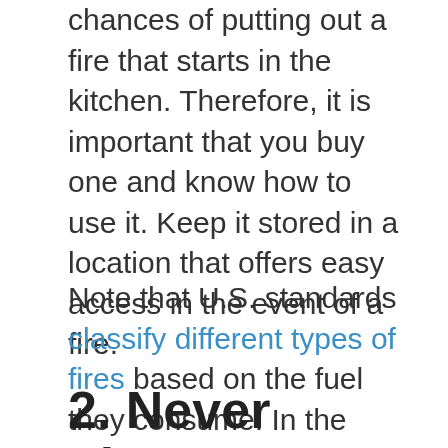chances of putting out a fire that starts in the kitchen. Therefore, it is important that you buy one and know how to use it. Keep it stored in a location that offers easy access in the event of a fire.
Note that U.S. standards classify different types of fires based on the fuel they consume. In the kitchen, most cooking fires are linked to hot oil and grease. Neither oil nor grease is water-soluble, so a fire extinguisher intended for solid combustibles isn't going to work. You need a fire extinguisher rated for flammable liquids. Keep this in mind when you shop for fire extinguishers.
2. Never Throw Water